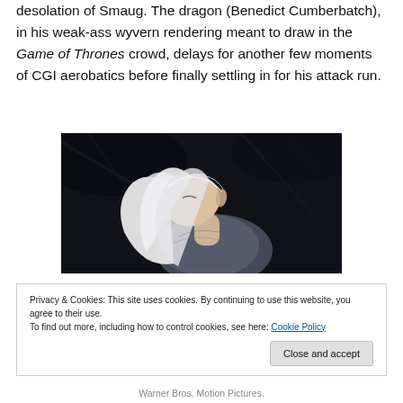desolation of Smaug. The dragon (Benedict Cumberbatch), in his weak-ass wyvern rendering meant to draw in the Game of Thrones crowd, delays for another few moments of CGI aerobatics before finally settling in for his attack run.
[Figure (photo): A still from The Hobbit showing a pale blonde elf character with a silver crown/headpiece, head tilted, dark background.]
Privacy & Cookies: This site uses cookies. By continuing to use this website, you agree to their use. To find out more, including how to control cookies, see here: Cookie Policy
Warner Bros. Motion Pictures.